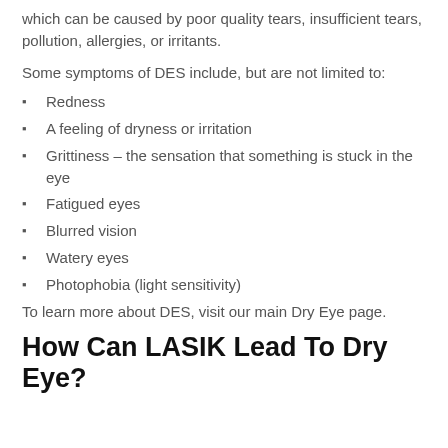which can be caused by poor quality tears, insufficient tears, pollution, allergies, or irritants.
Some symptoms of DES include, but are not limited to:
Redness
A feeling of dryness or irritation
Grittiness – the sensation that something is stuck in the eye
Fatigued eyes
Blurred vision
Watery eyes
Photophobia (light sensitivity)
To learn more about DES, visit our main Dry Eye page.
How Can LASIK Lead To Dry Eye?